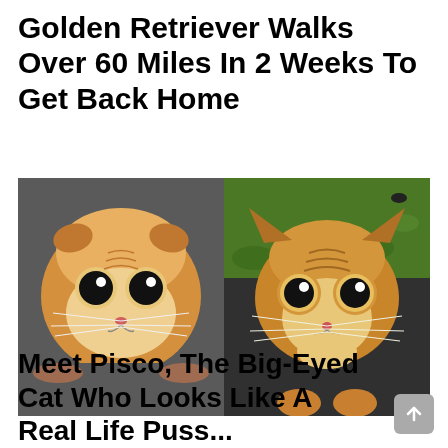Golden Retriever Walks Over 60 Miles In 2 Weeks To Get Back Home
[Figure (photo): Two side-by-side photos of orange cats with large black eyes. Left: a real Scottish fold kitten with huge round dark eyes held by human hands. Right: an animated/CGI-style orange cat with big sad dark eyes resembling Puss in Boots from Shrek.]
Meet Pisco, The Big-Eyed Cat Who Looks Like A Real Life Puss...